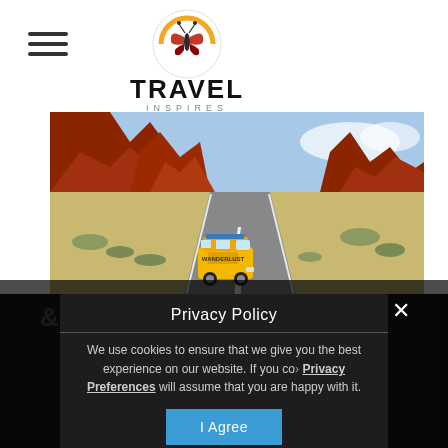[Figure (logo): Travel Inspires logo with butterfly icon in orange circle, with hamburger menu icon to the left]
[Figure (photo): Yellow VW van driving on a road through red rock canyon scenery]
& Save more...
Privacy Policy
We use cookies to ensure that we give you the best experience on our website. If you continue to use this site we will assume that you are happy with it.
Privacy Preferences
I Agree